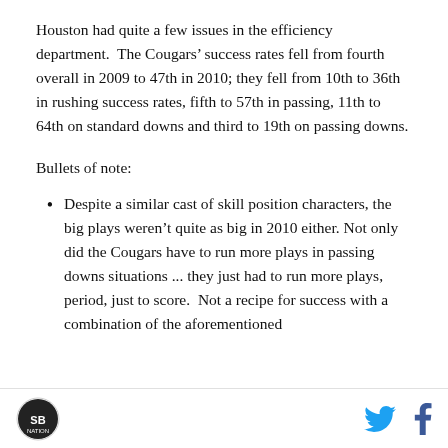Houston had quite a few issues in the efficiency department. The Cougars' success rates fell from fourth overall in 2009 to 47th in 2010; they fell from 10th to 36th in rushing success rates, fifth to 57th in passing, 11th to 64th on standard downs and third to 19th on passing downs.
Bullets of note:
Despite a similar cast of skill position characters, the big plays weren't quite as big in 2010 either. Not only did the Cougars have to run more plays in passing downs situations ... they just had to run more plays, period, just to score. Not a recipe for success with a combination of the aforementioned